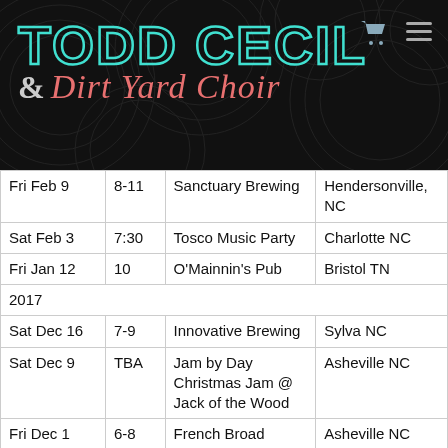[Figure (illustration): Todd Cecil & Dirt Yard Choir website header banner with dark swirled background. 'TODD CECIL' in large teal outlined block letters, '& Dirt Yard Choir' in pink italic script below. Cart icon and hamburger menu icon in top right.]
| Fri Feb 9 | 8-11 | Sanctuary Brewing | Hendersonville, NC |
| Sat Feb 3 | 7:30 | Tosco Music Party | Charlotte NC |
| Fri Jan 12 | 10 | O'Mainnin's Pub | Bristol TN |
| 2017 |  |  |  |
| Sat Dec 16 | 7-9 | Innovative Brewing | Sylva NC |
| Sat Dec 9 | TBA | Jam by Day Christmas Jam @ Jack of the Wood | Asheville NC |
| Fri Dec 1 | 6-8 | French Broad | Asheville NC |
| Sat Nov 25 | 9-till | The Phoenix & The Fox | Brevard NC |